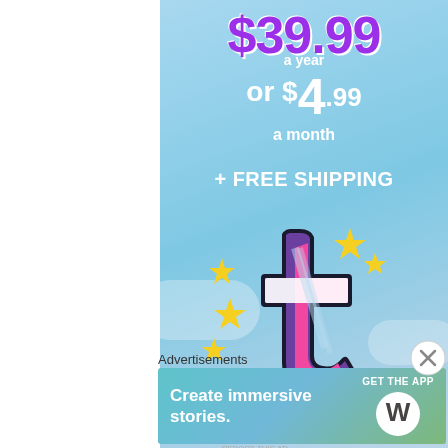[Figure (illustration): Tumblr subscription advertisement banner with light blue sky background. Shows pricing '$39.99 a year or $4.99 a month + FREE SHIPPING', Tumblr logo with sparkles, and text 'WORKS ON THE APP TOO!']
Advertisements
[Figure (illustration): WordPress app advertisement with gradient teal-green background. Shows 'Create immersive stories.' on left, 'GET THE APP' with WordPress logo circle on right.]